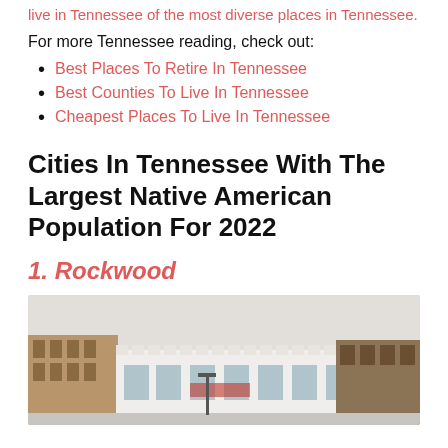live in Tennessee of the most diverse places in Tennessee.
For more Tennessee reading, check out:
Best Places To Retire In Tennessee
Best Counties To Live In Tennessee
Cheapest Places To Live In Tennessee
Cities In Tennessee With The Largest Native American Population For 2022
1. Rockwood
[Figure (photo): Street-level photo of Rockwood, Tennessee showing brick commercial buildings with decorative rooflines and a light overcast sky.]